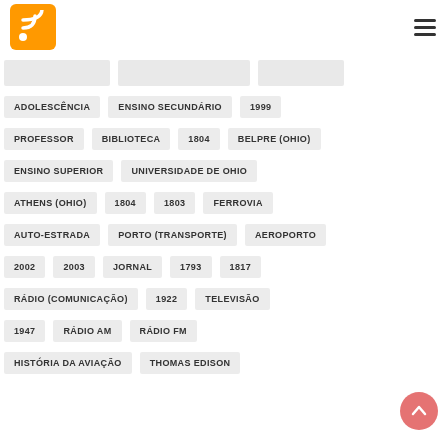[Figure (logo): Orange RSS feed logo icon (square with rounded corners, white RSS wifi symbol)]
ADOLESCÊNCIA
ENSINO SECUNDÁRIO
1999
PROFESSOR
BIBLIOTECA
1804
BELPRE (OHIO)
ENSINO SUPERIOR
UNIVERSIDADE DE OHIO
ATHENS (OHIO)
1804
1803
FERROVIA
AUTO-ESTRADA
PORTO (TRANSPORTE)
AEROPORTO
2002
2003
JORNAL
1793
1817
RÁDIO (COMUNICAÇÃO)
1922
TELEVISÃO
1947
RÁDIO AM
RÁDIO FM
HISTÓRIA DA AVIAÇÃO
THOMAS EDISON